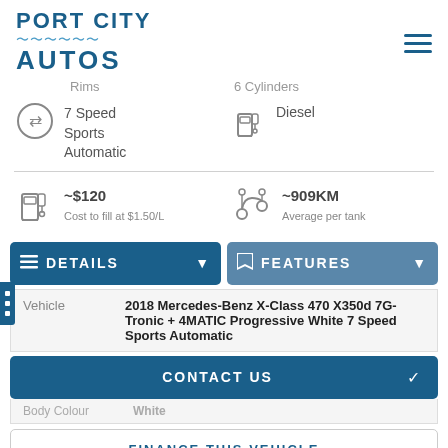[Figure (logo): Port City Autos logo with wave graphic and hamburger menu icon]
Rims | 6 Cylinders (partial, top-cropped)
7 Speed Sports Automatic
Diesel
~$120  Cost to fill at $1.50/L
~909KM  Average per tank
DETAILS  |  FEATURES (buttons)
| Vehicle |
| --- |
| 2018 Mercedes-Benz X-Class 470 X350d 7G-Tronic + 4MATIC Progressive White 7 Speed Sports Automatic |
CONTACT US
Body Colour  White (partial)
FINANCE THIS VEHICLE